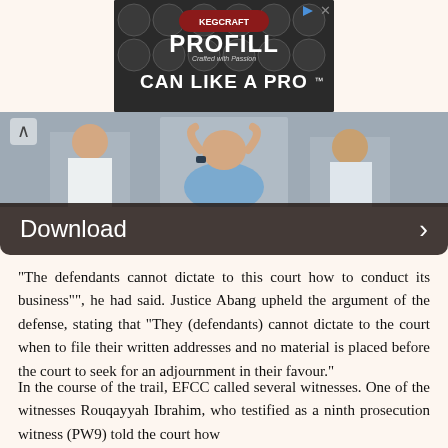[Figure (photo): Advertisement banner for PROFILL 'CAN LIKE A PRO' product with kegs/cans in background]
[Figure (photo): Photo of a man in business attire with hands over his head in a stressed pose, two other people visible in background]
Download
“The defendants cannot dictate to this court how to conduct its business””, he had said. Justice Abang upheld the argument of the defense, stating that “They (defendants) cannot dictate to the court when to file their written addresses and no material is placed before the court to seek for an adjournment in their favour.”
In the course of the trail, EFCC called several witnesses. One of the witnesses Rouqayyah Ibrahim, who testified as a ninth prosecution witness (PW9) told the court how